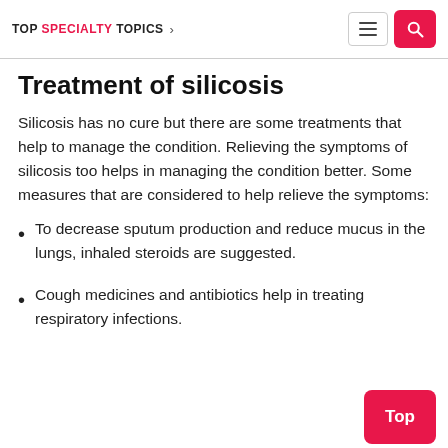TOP SPECIALTY TOPICS
Treatment of silicosis
Silicosis has no cure but there are some treatments that help to manage the condition. Relieving the symptoms of silicosis too helps in managing the condition better. Some measures that are considered to help relieve the symptoms:
To decrease sputum production and reduce mucus in the lungs, inhaled steroids are suggested.
Cough medicines and antibiotics help in treating respiratory infections.